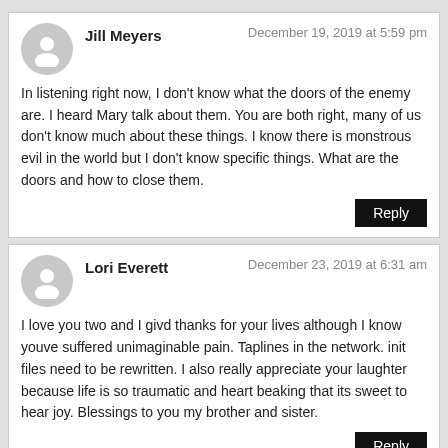Jill Meyers
December 19, 2019 at 5:59 pm
In listening right now, I don't know what the doors of the enemy are. I heard Mary talk about them. You are both right, many of us don't know much about these things. I know there is monstrous evil in the world but I don't know specific things. What are the doors and how to close them.
Reply
Lori Everett
December 23, 2019 at 6:31 am
I love you two and I givd thanks for your lives although I know youve suffered unimaginable pain. Taplines in the network. init files need to be rewritten. I also really appreciate your laughter because life is so traumatic and heart beaking that its sweet to hear joy. Blessings to you my brother and sister.
Reply